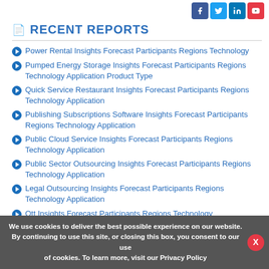[Figure (other): Social media share buttons: Facebook, Twitter, LinkedIn, YouTube]
RECENT REPORTS
Power Rental Insights Forecast Participants Regions Technology
Pumped Energy Storage Insights Forecast Participants Regions Technology Application Product Type
Quick Service Restaurant Insights Forecast Participants Regions Technology Application
Publishing Subscriptions Software Insights Forecast Participants Regions Technology Application
Public Cloud Service Insights Forecast Participants Regions Technology Application
Public Sector Outsourcing Insights Forecast Participants Regions Technology Application
Legal Outsourcing Insights Forecast Participants Regions Technology Application
Ott Insights Forecast Participants Regions Technology
We use cookies to deliver the best possible experience on our website. By continuing to use this site, or closing this box, you consent to our use of cookies. To learn more, visit our Privacy Policy